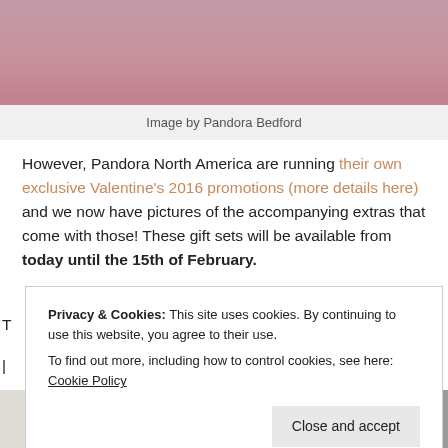[Figure (photo): Pink/mauve colored background image, top portion visible]
Image by Pandora Bedford
However, Pandora North America are running their own exclusive Valentine's 2016 promotions (more details here) and we now have pictures of the accompanying extras that come with those! These gift sets will be available from today until the 15th of February.
Privacy & Cookies: This site uses cookies. By continuing to use this website, you agree to their use.
To find out more, including how to control cookies, see here: Cookie Policy
Close and accept
[Figure (photo): Bottom partial images visible - two side by side photos at bottom of page]